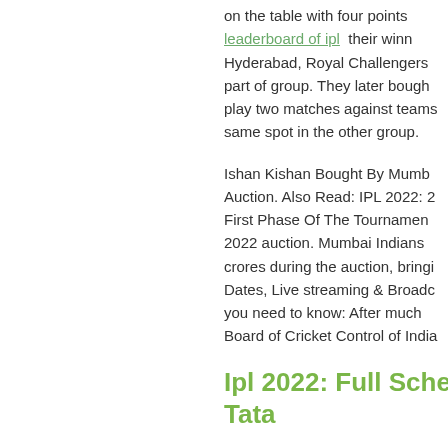on the table with four points leaderboard of ipl their winn Hyderabad, Royal Challengers part of group. They later bough play two matches against teams same spot in the other group.
Ishan Kishan Bought By Mumb Auction. Also Read: IPL 2022: 2 First Phase Of The Tournamen 2022 auction. Mumbai Indians crores during the auction, bringi Dates, Live streaming & Broadc you need to know: After much Board of Cricket Control of India
Ipl 2022: Full Schedul Tata
Punjab Kings squad against G three-time runners-up bought 1 team after friday ipl match las skipper for the team in IPL 202